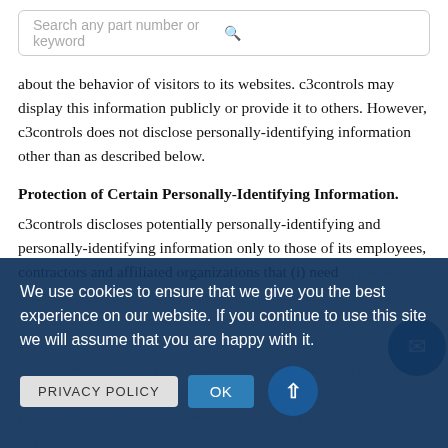[Figure (screenshot): Search bar with placeholder text 'Search any part number or keyword' and a blue search icon on the right]
about the behavior of visitors to its websites. c3controls may display this information publicly or provide it to others. However, c3controls does not disclose personally-identifying information other than as described below.
Protection of Certain Personally-Identifying Information.
c3controls discloses potentially personally-identifying and personally-identifying information only to those of its employees, contractors and affiliated organizations that (i) need to know that information in order to process it on c3controls behalf, and (ii) that have agreed not to disclose it to others. Some of those employees, contractors and affiliated organizations may be located outside of your home country; by using c3controls websites, you consent to the transfer of such information to them. c3controls will not rent or sell potentially personally-identifying and personally-identifying information to anyone.
We use cookies to ensure that we give you the best experience on our website. If you continue to use this site we will assume that you are happy with it.